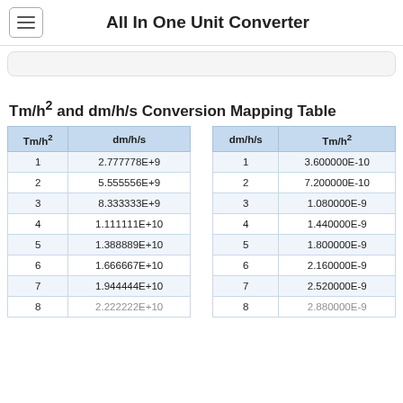All In One Unit Converter
Tm/h² and dm/h/s Conversion Mapping Table
| Tm/h² | dm/h/s |
| --- | --- |
| 1 | 2.777778E+9 |
| 2 | 5.555556E+9 |
| 3 | 8.333333E+9 |
| 4 | 1.111111E+10 |
| 5 | 1.388889E+10 |
| 6 | 1.666667E+10 |
| 7 | 1.944444E+10 |
| 8 | 2.222222E+10 |
| dm/h/s | Tm/h² |
| --- | --- |
| 1 | 3.600000E-10 |
| 2 | 7.200000E-10 |
| 3 | 1.080000E-9 |
| 4 | 1.440000E-9 |
| 5 | 1.800000E-9 |
| 6 | 2.160000E-9 |
| 7 | 2.520000E-9 |
| 8 | 2.880000E-9 |